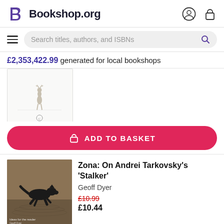Bookshop.org
Search titles, authors, and ISBNs
£2,353,422.99 generated for local bookshops
[Figure (photo): Book cover showing a deer or wolf silhouette on a white/minimal background, with 'The Canons' text at bottom]
ADD TO BASKET
[Figure (photo): Book cover for 'Zona: On Andrei Tarkovsky's Stalker' showing a black dog/wolf silhouette running through water]
Zona: On Andrei Tarkovsky's 'Stalker'
Geoff Dyer
£10.99
£10.44